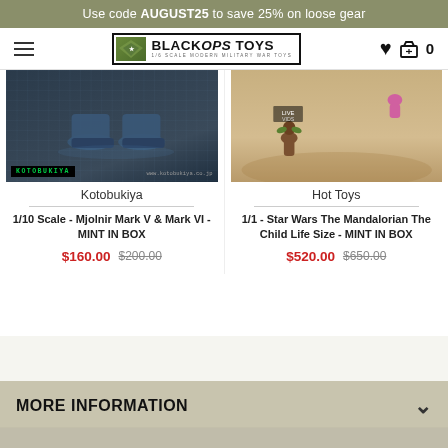Use code AUGUST25 to save 25% on loose gear
[Figure (logo): Black Ops Toys logo — hamburger menu, logo with military camouflage icon, heart and cart icons with count 0]
[Figure (photo): Dark grid surface with blue Halo Mjolnir armour boots/shoes on reflective surface, Kotobukiya branding bottom left]
Kotobukiya
1/10 Scale - Mjolnir Mark V & Mark VI - MINT IN BOX
$160.00  $200.00
[Figure (photo): Sandy outdoor scene with small child figure (Baby Yoda / The Child) and pink figure in background]
Hot Toys
1/1 - Star Wars The Mandalorian The Child Life Size - MINT IN BOX
$520.00  $650.00
MORE INFORMATION